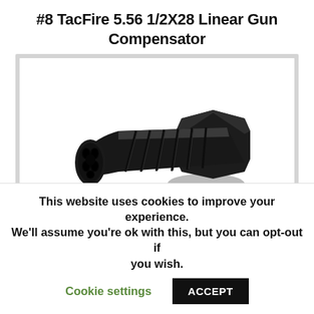#8 TacFire 5.56 1/2X28 Linear Gun Compensator
[Figure (photo): Black TacFire 5.56 1/2X28 Linear Gun Compensator muzzle device shown at an angle on a white background. The device is cylindrical with fluted/ribbed exterior and multiple circular ports at the front muzzle end.]
This website uses cookies to improve your experience. We'll assume you're ok with this, but you can opt-out if you wish.   Cookie settings   ACCEPT